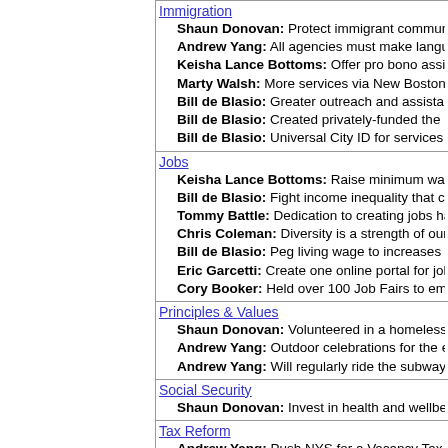Immigration
Shaun Donovan: Protect immigrant communities, pr...
Andrew Yang: All agencies must make language ac...
Keisha Lance Bottoms: Offer pro bono assistance t...
Marty Walsh: More services via New Bostonians Off...
Bill de Blasio: Greater outreach and assistance to i...
Bill de Blasio: Created privately-funded the DREAM...
Bill de Blasio: Universal City ID for services for und...
Jobs
Keisha Lance Bottoms: Raise minimum wage to $1...
Bill de Blasio: Fight income inequality that creates T...
Tommy Battle: Dedication to creating jobs has his ci...
Chris Coleman: Diversity is a strength of our workfo...
Bill de Blasio: Peg living wage to increases in the co...
Eric Garcetti: Create one online portal for job seeke...
Cory Booker: Held over 100 Job Fairs to employ loc...
Principles & Values
Shaun Donovan: Volunteered in a homeless shelter...
Andrew Yang: Outdoor celebrations for the end of th...
Andrew Yang: Will regularly ride the subway, buses,...
Social Security
Shaun Donovan: Invest in health and wellbeing of p...
Tax Reform
Andrew Yang: Push NYS for a Vacancy Tax on emp...
Technology
Shaun Donovan: Bring high-speed broadband into e...
Keisha Lance Bottoms: Develop transit-oriented de...
Marty Walsh: Modern transportation system means ...